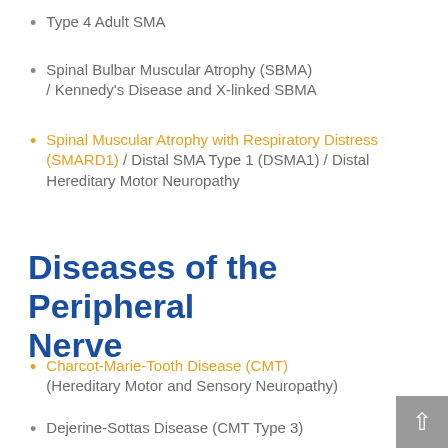Type 4 Adult SMA
Spinal Bulbar Muscular Atrophy (SBMA) / Kennedy's Disease and X-linked SBMA
Spinal Muscular Atrophy with Respiratory Distress (SMARD1) / Distal SMA Type 1 (DSMA1) / Distal Hereditary Motor Neuropathy
Diseases of the Peripheral Nerve
Charcot-Marie-Tooth Disease (CMT) (Hereditary Motor and Sensory Neuropathy)
Dejerine-Sottas Disease (CMT Type 3)